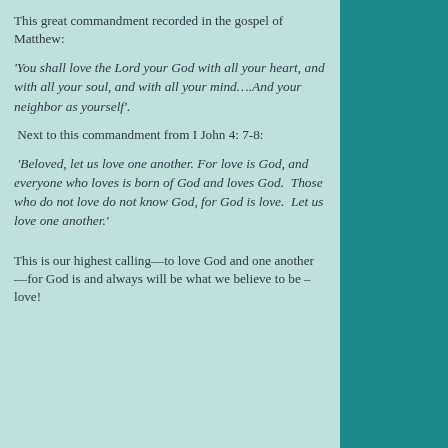This great commandment recorded in the gospel of Matthew:
'You shall love the Lord your God with all your heart, and with all your soul, and with all your mind….And your neighbor as yourself'.
Next to this commandment from I John 4: 7-8:
'Beloved, let us love one another. For love is God, and everyone who loves is born of God and loves God.  Those who do not love do not know God, for God is love.  Let us love one another.'
This is our highest calling—to love God and one another—for God is and always will be what we believe to be – love!